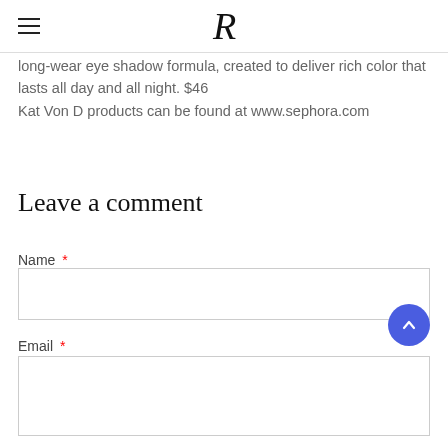R
long-wear eye shadow formula, created to deliver rich color that lasts all day and all night. $46
Kat Von D products can be found at www.sephora.com
Leave a comment
Name *
Email *